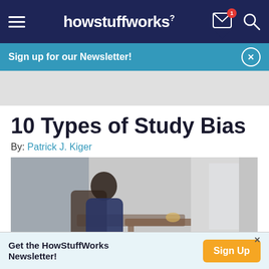howstuffworks
Sign up for our Newsletter!
[Figure (other): Gray advertisement placeholder banner]
10 Types of Study Bias
By: Patrick J. Kiger
[Figure (photo): Blurred photo of a person sitting at a desk in a bedroom, studying or working]
Get the HowStuffWorks Newsletter! Sign Up